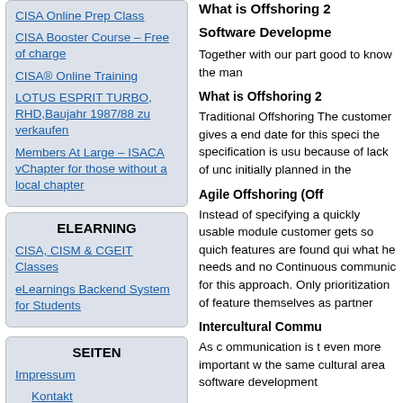CISA Online Prep Class
CISA Booster Course – Free of charge
CISA® Online Training
LOTUS ESPRIT TURBO, RHD,Baujahr 1987/88 zu verkaufen
Members At Large – ISACA vChapter for those without a local chapter
ELEARNING
CISA, CISM & CGEIT Classes
eLearnings Backend System for Students
SEITEN
Impressum
Kontakt
Home
What is Offshoring 2
Software Development
Together with our part good to know the man
What is Offshoring 2
Traditional Offshoring The customer gives a end date for this speci the specification is usu because of lack of unc initially planned in the
Agile Offshoring (Off
Instead of specifying a quickly usable module customer gets so quich features are found qui what he needs and no Continuous communic for this approach. Only prioritization of feature themselves as partner
Intercultural Commu
As c ommunication is t even more important w the same cultural area software development